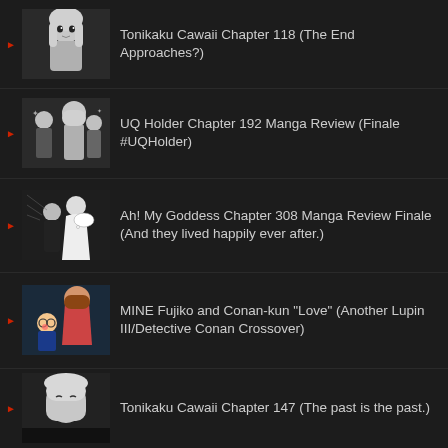Tonikaku Cawaii Chapter 118 (The End Approaches?)
UQ Holder Chapter 192 Manga Review (Finale #UQHolder)
Ah! My Goddess Chapter 308 Manga Review Finale (And they lived happily ever after.)
MINE Fujiko and Conan-kun "Love" (Another Lupin III/Detective Conan Crossover)
Tonikaku Cawaii Chapter 147 (The past is the past.)